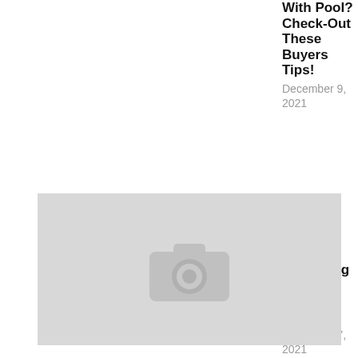With Pool? Check-Out These Buyers Tips!
December 9, 2021
[Figure (photo): Placeholder image with camera icon (gray background)]
Protecting Yourself Against COVID
December 7, 2021